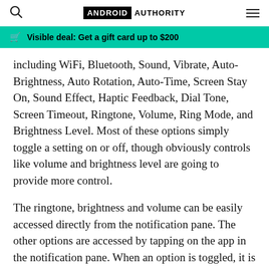ANDROID AUTHORITY
Visible deal: Get a gift card up to $200
including WiFi, Bluetooth, Sound, Vibrate, Auto-Brightness, Auto Rotation, Auto-Time, Screen Stay On, Sound Effect, Haptic Feedback, Dial Tone, Screen Timeout, Ringtone, Volume, Ring Mode, and Brightness Level. Most of these options simply toggle a setting on or off, though obviously controls like volume and brightness level are going to provide more control.
The ringtone, brightness and volume can be easily accessed directly from the notification pane. The other options are accessed by tapping on the app in the notification pane. When an option is toggled, it is shown with a blue outline, while